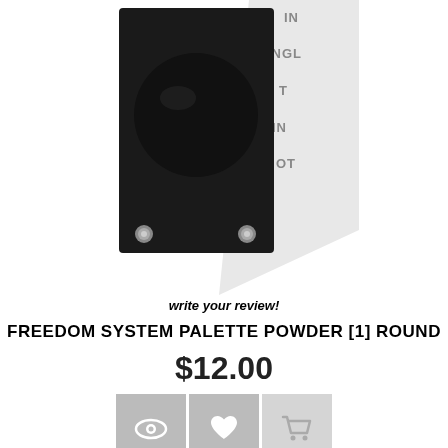[Figure (photo): Product photo of Freedom System Palette Powder [1] Round — a black square compact with a round black powder pan and two silver studs at the bottom corners, shown at an angle with a partially visible branded background.]
write your review!
FREEDOM SYSTEM PALETTE POWDER [1] ROUND
$12.00
[Figure (infographic): Three icon buttons: eye icon (view), heart icon (wishlist), shopping cart icon (add to cart)]